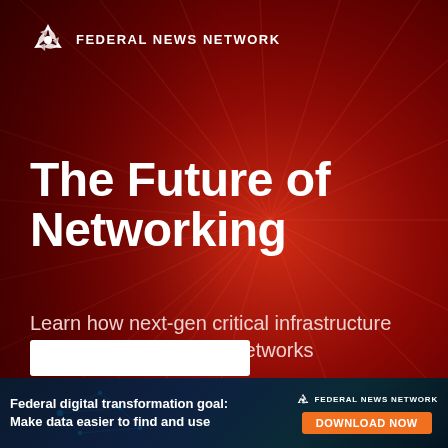[Figure (logo): Federal News Network logo with stylized pinwheel/star icon in white and red text on dark red background]
The Future of Networking
Learn how next-gen critical infrastructure can modernize federal networks
[Figure (infographic): Advertisement banner: Federal digital transformation goal: Make data easier to find and use — Federal News Network logo — DOWNLOAD NOW button in orange]